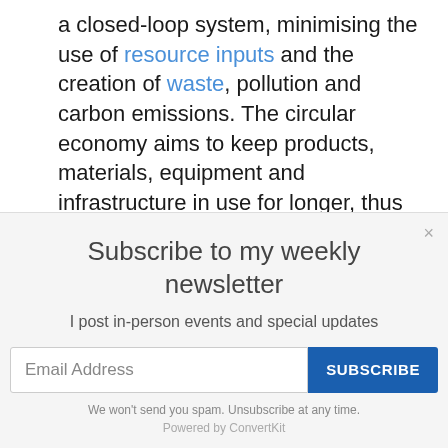a closed-loop system, minimising the use of resource inputs and the creation of waste, pollution and carbon emissions. The circular economy aims to keep products, materials, equipment and infrastructure in use for longer, thus improving the productivity of these
Subscribe to my weekly newsletter
I post in-person events and special updates
Email Address
SUBSCRIBE
We won't send you spam. Unsubscribe at any time.
Powered by ConvertKit